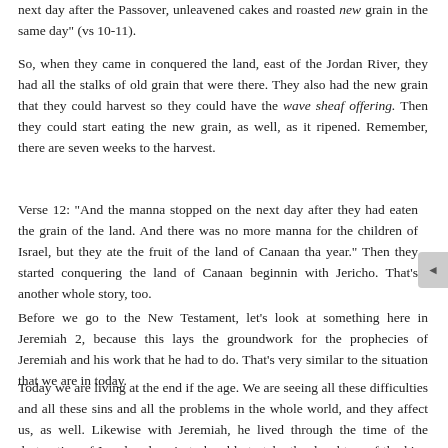next day after the Passover, unleavened cakes and roasted new grain in the same day" (vs 10-11).
So, when they came in conquered the land, east of the Jordan River, they had all the stalks of old grain that were there. They also had the new grain that they could harvest so they could have the wave sheaf offering. Then they could start eating the new grain, as well, as it ripened. Remember, there are seven weeks to the harvest.
Verse 12: "And the manna stopped on the next day after they had eaten the grain of the land. And there was no more manna for the children of Israel, but they ate the fruit of the land of Canaan that year." Then they started conquering the land of Canaan beginning with Jericho. That's another whole story, too.
Before we go to the New Testament, let's look at something here in Jeremiah 2, because this lays the groundwork for the prophecies of Jeremiah and his work that he had to do. That's very similar to the situation that we are in today.
Today we are living at the end if the age. We are seeing all these difficulties and all these sins and all the problems in the whole world, and they affect us, as well. Likewise with Jeremiah, he lived through the time of the destruction of Israel and on in to be able to take the daughters of the king over to Ireland so that the ten tribes